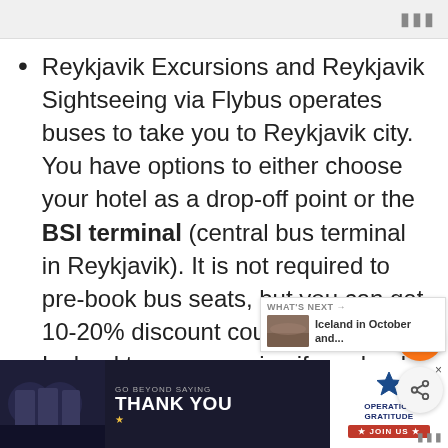Reykjavik Excursions and Reykjavik Sightseeing via Flybus operates buses to take you to Reykjavik city. You have options to either choose your hotel as a drop-off point or the BSI terminal (central bus terminal in Reykjavik). It is not required to pre-book bus seats, but you can get 10-20% discount coupon from Iceland tour companies if you book through them online. Get your
[Figure (screenshot): Floating heart/favorite button (orange circle with heart icon) and share button (gray circle with share icon)]
[Figure (infographic): What's Next panel showing Iceland in October and... with thumbnail image]
[Figure (infographic): Advertisement banner: GO BEYOND SAYING THANK YOU - Operation Gratitude JOIN US]